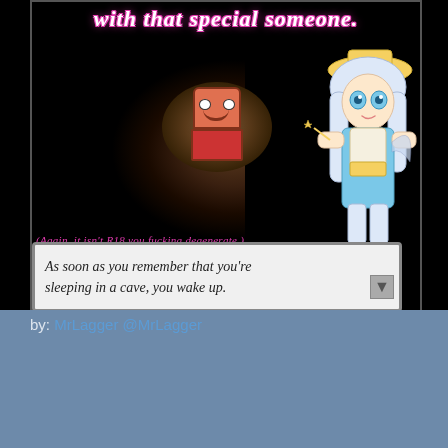[Figure (screenshot): Screenshot of a Pokemon-style RPG game. Top shows italic text 'with that special someone.' in white with pink outline. Cave background with a round NPC sprite in center. Anime-style character on the right. Text overlay reads '(Again, it isn't R18 you fucking degenerate.)' Dialog box at bottom: 'As soon as you remember that you're sleeping in a cave, you wake up.']
by: MrLagger @MrLagger